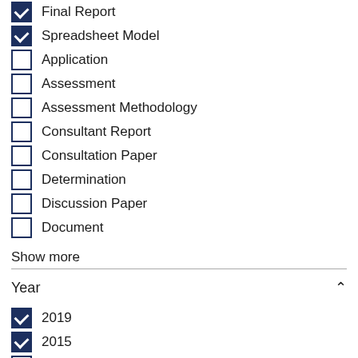☑ Final Report
☑ Spreadsheet Model
☐ Application
☐ Assessment
☐ Assessment Methodology
☐ Consultant Report
☐ Consultation Paper
☐ Determination
☐ Discussion Paper
☐ Document
Show more
Year
☑ 2019
☑ 2015
☐ 2023